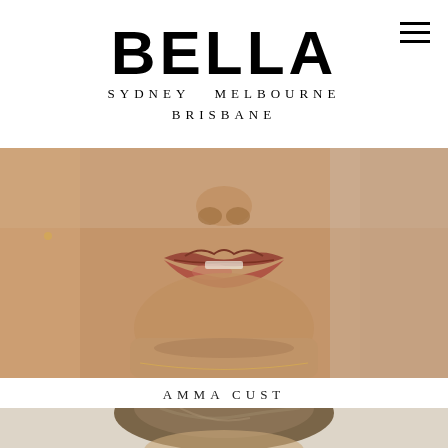BELLA
SYDNEY  MELBOURNE
BRISBANE
[Figure (photo): Close-up photo of a person's lower face showing lips and chin, with warm skin tone and a delicate gold necklace visible at the bottom]
AMMA CUST
[Figure (photo): Partial photo of a person's head showing hair, cropped at bottom of page]